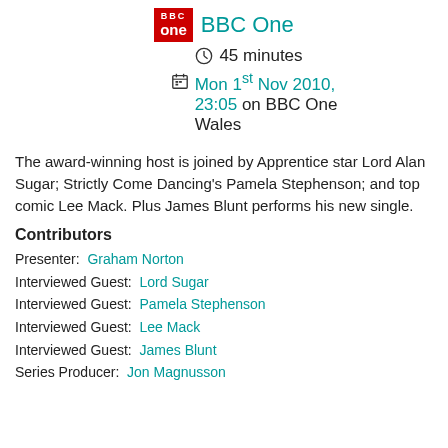[Figure (logo): BBC One logo — red rectangle with 'BBC' and 'one' in white, followed by 'BBC One' in teal text]
45 minutes
Mon 1st Nov 2010, 23:05 on BBC One Wales
The award-winning host is joined by Apprentice star Lord Alan Sugar; Strictly Come Dancing's Pamela Stephenson; and top comic Lee Mack. Plus James Blunt performs his new single.
Contributors
Presenter: Graham Norton
Interviewed Guest: Lord Sugar
Interviewed Guest: Pamela Stephenson
Interviewed Guest: Lee Mack
Interviewed Guest: James Blunt
Series Producer: Jon Magnusson